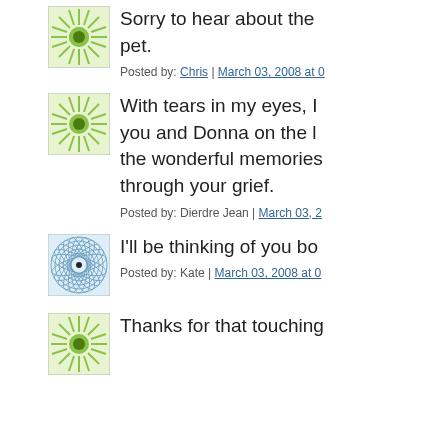[Figure (illustration): Green starburst avatar icon with circular center]
Sorry to hear about the pet.
Posted by: Chris | March 03, 2008 at 0...
[Figure (illustration): Green starburst avatar icon with circular center]
With tears in my eyes, I... you and Donna on the l... the wonderful memories... through your grief.
Posted by: Dierdre Jean | March 03, 2...
[Figure (illustration): Blue spiral/geometric avatar icon with dark center dot]
I'll be thinking of you bo...
Posted by: Kate | March 03, 2008 at 0...
[Figure (illustration): Green starburst avatar icon with circular center]
Thanks for that touching...